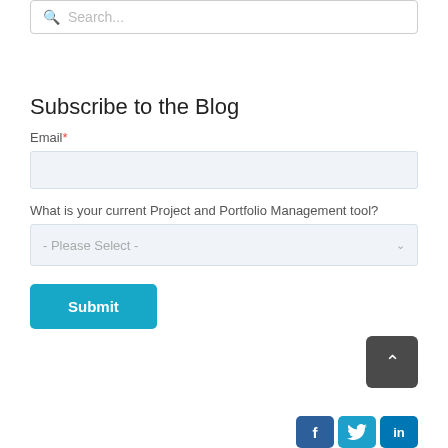[Figure (screenshot): Search input box with magnifying glass icon and placeholder text 'Search...']
Subscribe to the Blog
Email*
[Figure (screenshot): Empty email input field with light blue-gray background]
What is your current Project and Portfolio Management tool?
[Figure (screenshot): Dropdown select with placeholder '- Please Select -' and chevron arrow]
[Figure (screenshot): Blue 'Submit' button]
[Figure (screenshot): Dark gray back-to-top button with upward chevron arrow]
[Figure (screenshot): Social media icons: Facebook (f), Twitter (bird), LinkedIn (in)]